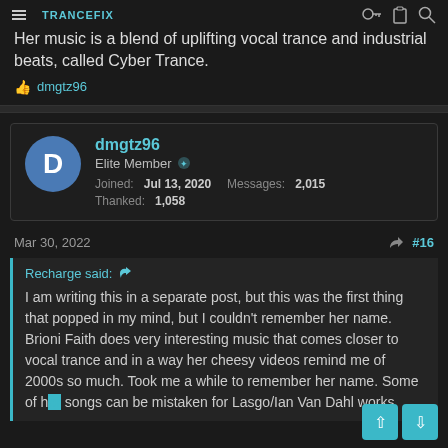TRANCEFIX
Her music is a blend of uplifting vocal trance and industrial beats, called Cyber Trance.
liked by dmgtz96
dmgtz96 — Elite Member — Joined: Jul 13, 2020   Messages: 2,015   Thanked: 1,058
Mar 30, 2022   #16
Recharge said:
I am writing this in a separate post, but this was the first thing that popped in my mind, but I couldn't remember her name. Brioni Faith does very interesting music that comes closer to vocal trance and in a way her cheesy videos remind me of 2000s so much. Took me a while to remember her name. Some of her songs can be mistaken for Lasgo/Ian Van Dahl works